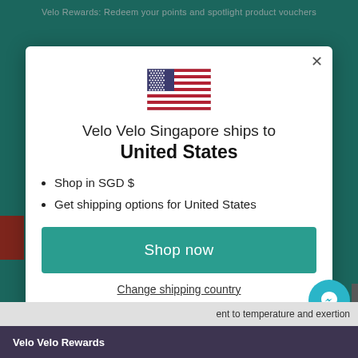Velo Rewards: Redeem your points and spotlight product vouchers
[Figure (screenshot): US flag emoji/icon displayed in modal dialog]
Velo Velo Singapore ships to United States
Shop in SGD $
Get shipping options for United States
Shop now
Change shipping country
Velo Velo Rewards
ent to temperature and exertion